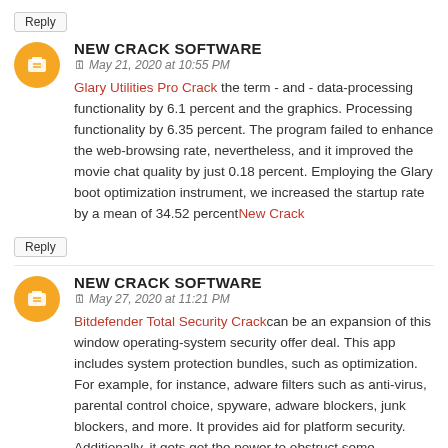Reply
NEW CRACK SOFTWARE
May 21, 2020 at 10:55 PM
Glary Utilities Pro Crack the term - and - data-processing functionality by 6.1 percent and the graphics. Processing functionality by 6.35 percent. The program failed to enhance the web-browsing rate, nevertheless, and it improved the movie chat quality by just 0.18 percent. Employing the Glary boot optimization instrument, we increased the startup rate by a mean of 34.52 percentNew Crack
Reply
NEW CRACK SOFTWARE
May 27, 2020 at 11:21 PM
Bitdefender Total Security Crackcan be an expansion of this window operating-system security offer deal. This app includes system protection bundles, such as optimization. For example, for instance, adware filters such as anti-virus, parental control choice, spyware, adware blockers, junk blockers, and more. It provides aid for platform security. Additionally, it gets got the power to obstruct some